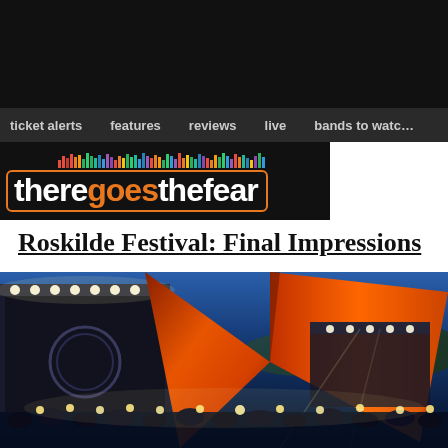theregoesthefear
ticket alerts   features   reviews   live   bands to watch
Roskilde Festival: Final Impressions
[Figure (photo): Nighttime photo of Roskilde Festival stage with dramatic orange/red tent structure, bright stage lights, and large crowd in foreground]